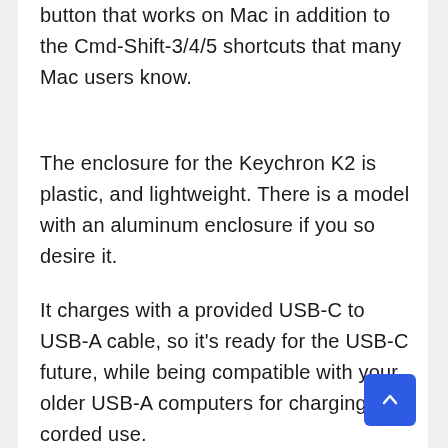button that works on Mac in addition to the Cmd-Shift-3/4/5 shortcuts that many Mac users know.
The enclosure for the Keychron K2 is plastic, and lightweight. There is a model with an aluminum enclosure if you so desire it.
It charges with a provided USB-C to USB-A cable, so it’s ready for the USB-C future, while being compatible with your older USB-A computers for charging and corded use.